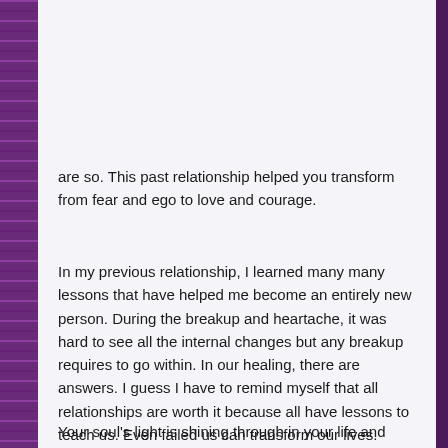are so. This past relationship helped you transform from fear and ego to love and courage.
In my previous relationship, I learned many many lessons that have helped me become an entirely new person. During the breakup and heartache, it was hard to see all the internal changes but any breakup requires to go within. In our healing, there are answers. I guess I have to remind myself that all relationships are worth it because all have lessons to teach us. Even failed us can transform our lives.
Your soul's light is shining through in your life and